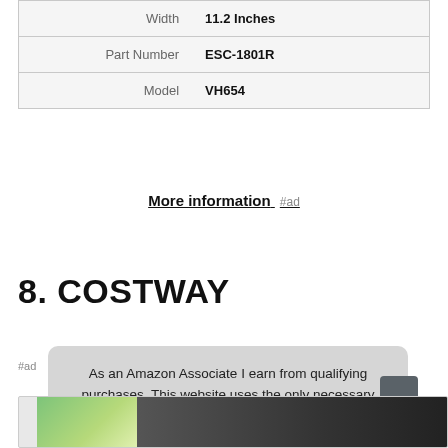| Width | 11.2 Inches |
| Part Number | ESC-1801R |
| Model | VH654 |
More information #ad
8. COSTWAY
#ad
As an Amazon Associate I earn from qualifying purchases. This website uses the only necessary cookies to ensure you get the best experience on our website. More information